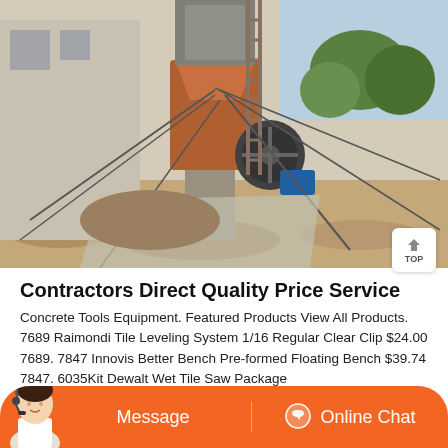[Figure (photo): Industrial crushing/quarry machinery at a construction or mining site. Large jaw crusher or similar industrial equipment with a metal structure, conveyor ladders, wires/cables, surrounded by sandy rocky terrain and a building structure on the left. Blue sky and trees visible in background.]
Contractors Direct Quality Price Service
Concrete Tools Equipment. Featured Products View All Products. 7689 Raimondi Tile Leveling System 1/16 Regular Clear Clip $24.00 7689. 7847 Innovis Better Bench Pre-formed Floating Bench $39.74 7847. 6035Kit Dewalt Wet Tile Saw Package
[Figure (photo): Customer service representative (woman with headset) avatar visible at bottom left corner of the screen overlay.]
Message
Online Chat